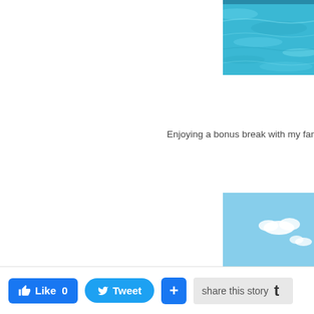[Figure (photo): Cropped photo of turquoise blue pool water, top-right corner of page]
Enjoying a bonus break with my family did
[Figure (photo): Beach photo showing turquoise ocean waves and sandy beach with a person swimming, right side of page]
Like 0  Tweet  +  share this story  t